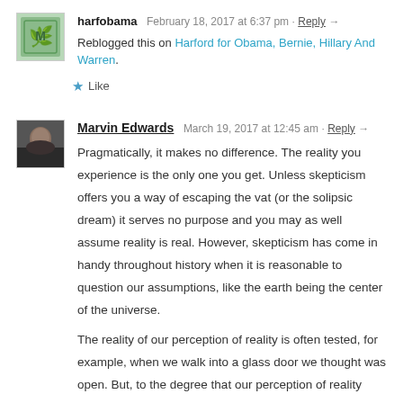harfobama   February 18, 2017 at 6:37 pm · Reply →
Reblogged this on Harford for Obama, Bernie, Hillary And Warren.
★ Like
Marvin Edwards   March 19, 2017 at 12:45 am · Reply →
Pragmatically, it makes no difference. The reality you experience is the only one you get. Unless skepticism offers you a way of escaping the vat (or the solipsic dream) it serves no purpose and you may as well assume reality is real. However, skepticism has come in handy throughout history when it is reasonable to question our assumptions, like the earth being the center of the universe.
The reality of our perception of reality is often tested, for example, when we walk into a glass door we thought was open. But, to the degree that our perception of reality works to let us deal successfully with it, then our perception is true.